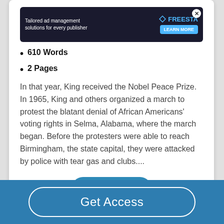[Figure (other): Dark-themed advertisement banner for Freesta ad management solutions with character illustration and Learn More button]
610 Words
2 Pages
In that year, King received the Nobel Peace Prize. In 1965, King and others organized a march to protest the blatant denial of African Americans' voting rights in Selma, Alabama, where the march began. Before the protesters were able to reach Birmingham, the state capital, they were attacked by police with tear gas and clubs....
Read More
Get Access